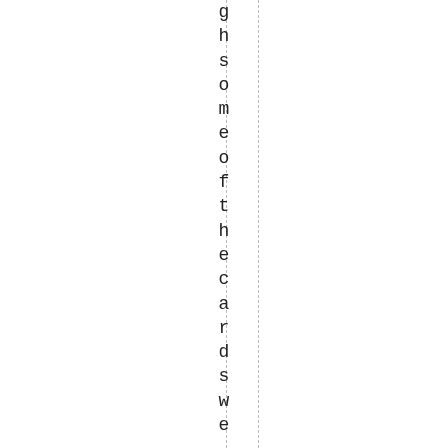ghsomeofte h e c a r d s we, ve accumulat